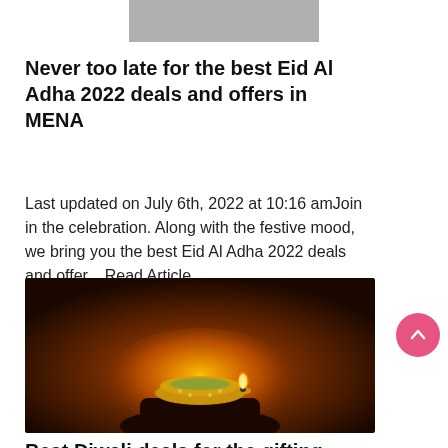[Figure (photo): Top portion of a photo showing a person with white fabric, cropped at top of page]
Never too late for the best Eid Al Adha 2022 deals and offers in MENA
Last updated on July 6th, 2022 at 10:16 amJoin in the celebration. Along with the festive mood, we bring you the best Eid Al Adha 2022 deals and offer... Read Article
[Figure (photo): Photo of a lit diya (oil lamp) held in a hand against a dark orange background, representing Diwali]
Best Diwali deals for the gifting